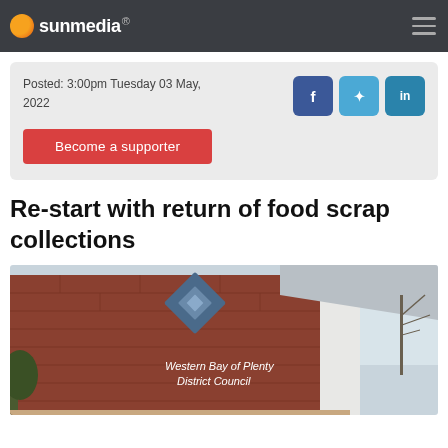sunmedia
Posted: 3:00pm Tuesday 03 May, 2022
Become a supporter
Re-start with return of food scrap collections
[Figure (photo): Western Bay of Plenty District Council building exterior showing brick facade with the council logo and name signage]